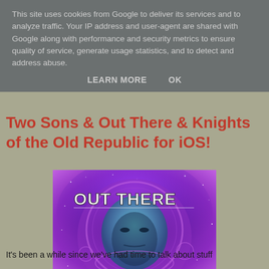This site uses cookies from Google to deliver its services and to analyze traffic. Your IP address and user-agent are shared with Google along with performance and security metrics to ensure quality of service, generate usage statistics, and to detect and address abuse.
LEARN MORE   OK
Two Sons & Out There & Knights of the Old Republic for iOS!
[Figure (illustration): Out There game cover art showing a space-suited figure with 'OUT THERE' text in white, purple and blue cosmic background]
It's been a while since we've had time to talk about stuff